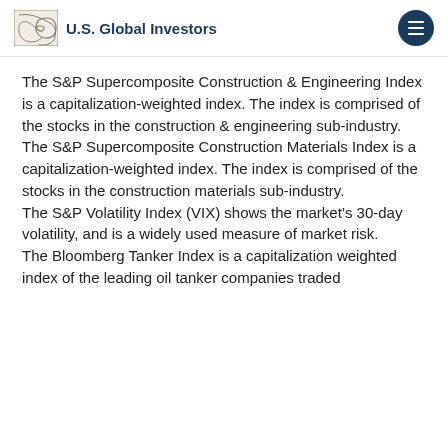U.S. Global Investors
The S&P Supercomposite Construction & Engineering Index is a capitalization-weighted index. The index is comprised of the stocks in the construction & engineering sub-industry.
The S&P Supercomposite Construction Materials Index is a capitalization-weighted index. The index is comprised of the stocks in the construction materials sub-industry.
The S&P Volatility Index (VIX) shows the market's 30-day volatility, and is a widely used measure of market risk.
The Bloomberg Tanker Index is a capitalization weighted index of the leading oil tanker companies traded